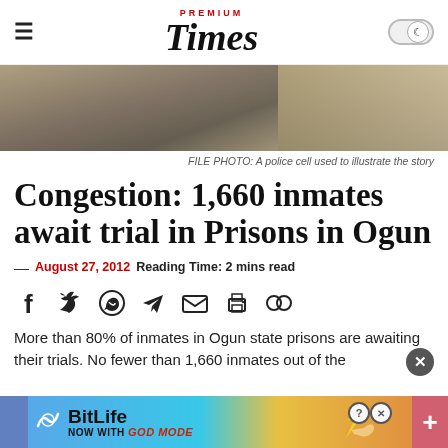PREMIUM Times
[Figure (photo): FILE PHOTO: A police cell interior showing walls and door]
FILE PHOTO: A police cell used to illustrate the story
Congestion: 1,660 inmates await trial in Prisons in Ogun
— August 27, 2012  Reading Time: 2 mins read
[Figure (infographic): Social sharing icons: Facebook, Twitter, WhatsApp, Telegram, Email, Print, Link]
More than 80% of inmates in Ogun state prisons are awaiting their trials. No fewer than 1,660 inmates out of the